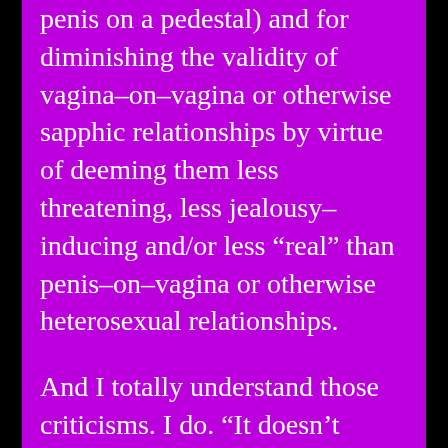penis on a pedestal) and for diminishing the validity of vagina–on–vagina or otherwise sapphic relationships by virtue of deeming them less threatening, less jealousy–inducing and/or less “real” than penis–on–vagina or otherwise heterosexual relationships.
And I totally understand those criticisms. I do. “It doesn’t count if it’s with a girl” is an icky sentiment which manages to be misogynistic (in that it positions women and their relationships as less important than men) and manages to dismiss female